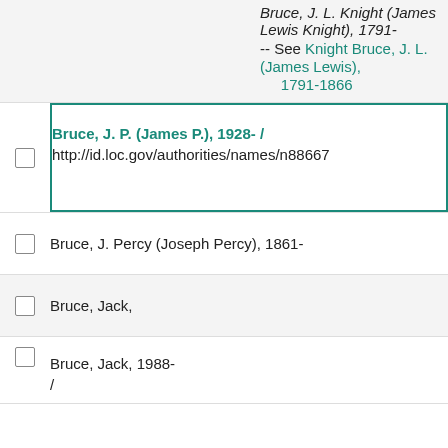Bruce, J. L. Knight (James Lewis Knight), 1791- -- See Knight Bruce, J. L. (James Lewis), 1791-1866
Bruce, J. P. (James P.), 1928- / http://id.loc.gov/authorities/names/n88667...
Bruce, J. Percy (Joseph Percy), 1861-
Bruce, Jack,
Bruce, Jack, 1988- /